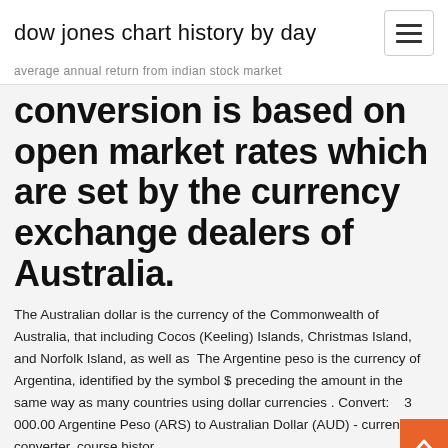dow jones chart history by day
average annual return from indian stock market
conversion is based on open market rates which are set by the currency exchange dealers of Australia.
The Australian dollar is the currency of the Commonwealth of Australia, that including Cocos (Keeling) Islands, Christmas Island, and Norfolk Island, as well as  The Argentine peso is the currency of Argentina, identified by the symbol $ preceding the amount in the same way as many countries using dollar currencies . Convert:    3 000.00 Argentine Peso (ARS) to Australian Dollar (AUD) - currency converter, course histor
Today Argentina Pesos Rate to Australian Dollar (3000 ARS to